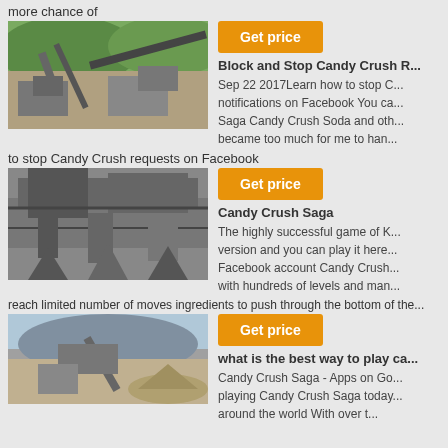more chance of
[Figure (photo): Industrial crushing/conveyor equipment at a quarry site with green hills in background]
Get price
Block and Stop Candy Crush R...
Sep 22 2017Learn how to stop C... notifications on Facebook You ca... Saga Candy Crush Soda and oth... became too much for me to han...
to stop Candy Crush requests on Facebook
[Figure (photo): Large industrial mining or processing equipment, heavy machinery close-up]
Get price
Candy Crush Saga
The highly successful game of K... version and you can play it here... Facebook account Candy Crush... with hundreds of levels and man...
reach limited number of moves ingredients to push through the bottom of the...
[Figure (photo): Quarry or mining site with machinery and stockpiles of rock/gravel]
Get price
what is the best way to play ca...
Candy Crush Saga - Apps on Go... playing Candy Crush Saga today... around the world With over t...